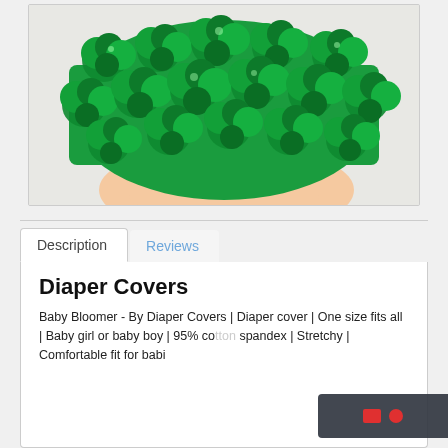[Figure (photo): Close-up photo of a baby wearing a green satin rosette bloomer/diaper cover, viewed from waist down, against a light background.]
Description   Reviews
Diaper Covers
Baby Bloomer - By Diaper Covers | Diaper cover | One size fits all | Baby girl or baby boy | 95% cotton spandex | Stretchy | Comfortable fit for babi...